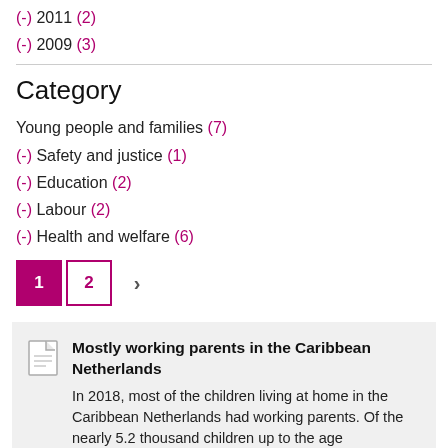(-) 2011 (2)
(-) 2009 (3)
Category
Young people and families (7)
(-) Safety and justice (1)
(-) Education (2)
(-) Labour (2)
(-) Health and welfare (6)
1 2 ›
Mostly working parents in the Caribbean Netherlands
In 2018, most of the children living at home in the Caribbean Netherlands had working parents. Of the nearly 5.2 thousand children up to the age